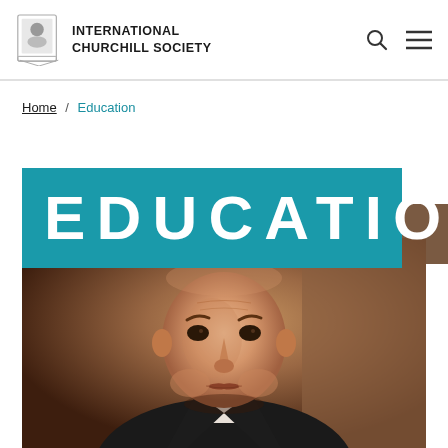INTERNATIONAL CHURCHILL SOCIETY
Home / Education
EDUCATION
[Figure (photo): Portrait photograph of Winston Churchill in dark suit, looking stern, with warm brown background]